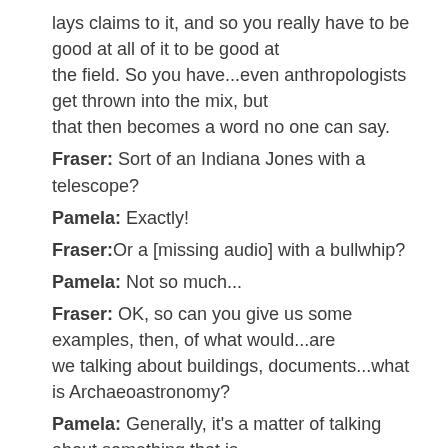lays claims to it, and so you really have to be good at all of it to be good at the field. So you have...even anthropologists get thrown into the mix, but that then becomes a word no one can say.
Fraser: Sort of an Indiana Jones with a telescope?
Pamela: Exactly!
Fraser: Or a [missing audio] with a bullwhip?
Pamela: Not so much...
Fraser: OK, so can you give us some examples, then, of what would...are we talking about buildings, documents...what is Archaeoastronomy?
Pamela: Generally, it's a matter of talking about something that is physically built that allows you to use the structure itself to make predictions to make measurements about sky phenomena, so the classic